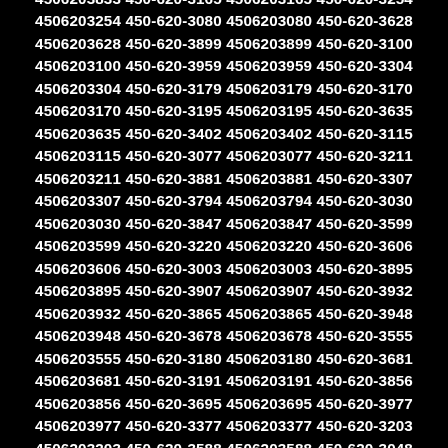4506203415 450-620-3106 4506203106 450-620-3608
4506203608 450-620-3817 4506203817 450-620-3833
4506203833 450-620-3165 4506203165 450-620-3254
4506203254 450-620-3080 4506203080 450-620-3628
4506203628 450-620-3899 4506203899 450-620-3100
4506203100 450-620-3959 4506203959 450-620-3304
4506203304 450-620-3179 4506203179 450-620-3170
4506203170 450-620-3195 4506203195 450-620-3635
4506203635 450-620-3402 4506203402 450-620-3115
4506203115 450-620-3077 4506203077 450-620-3211
4506203211 450-620-3881 4506203881 450-620-3307
4506203307 450-620-3794 4506203794 450-620-3030
4506203030 450-620-3847 4506203847 450-620-3599
4506203599 450-620-3220 4506203220 450-620-3606
4506203606 450-620-3003 4506203003 450-620-3895
4506203895 450-620-3907 4506203907 450-620-3932
4506203932 450-620-3865 4506203865 450-620-3948
4506203948 450-620-3678 4506203678 450-620-3555
4506203555 450-620-3180 4506203180 450-620-3681
4506203681 450-620-3191 4506203191 450-620-3856
4506203856 450-620-3695 4506203695 450-620-3977
4506203977 450-620-3377 4506203377 450-620-3203
4506203203 450-620-3588 4506203588 450-620-3048
4506203048 450-620-3905 4506203905 450-620-3670
4506203670 450-620-3016 4506203016 450-620-3829